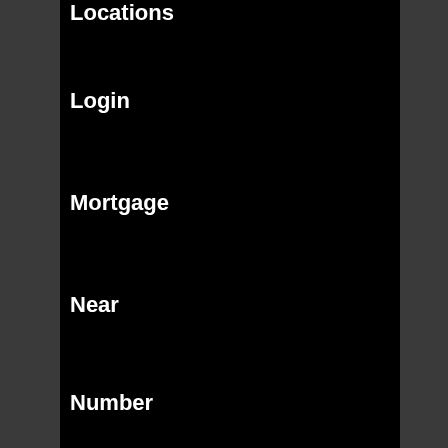Locations
Login
Mortgage
Near
Number
One
Online
Open
Phone number
Savings